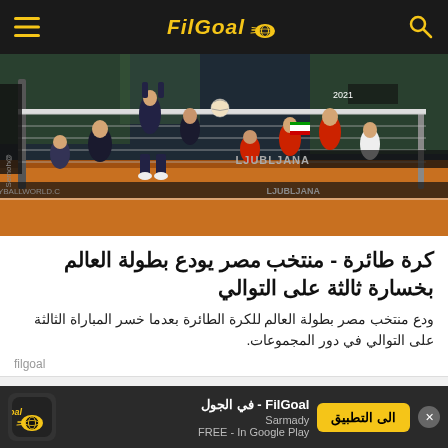FilGoal
[Figure (photo): Volleyball match action photo showing players jumping at the net during a World Championship match in Ljubljana. Players wear black and red uniforms. Arena with green seats visible in background.]
كرة طائرة - منتخب مصر يودع بطولة العالم بخسارة ثالثة على التوالي
ودع منتخب مصر بطولة العالم للكرة الطائرة بعدما خسر المباراة الثالثة على التوالي في دور المجموعات.
filgoal
[Figure (infographic): Social share icons: Facebook (blue circle with f), Twitter (blue circle with bird), Messenger (blue circle with lightning bolt), WhatsApp (green circle with phone)]
FilGoal - في الجول | Sarmady | FREE - In Google Play